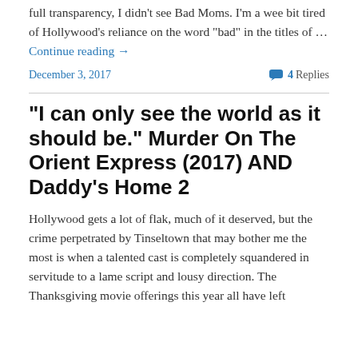full transparency, I didn't see Bad Moms. I'm a wee bit tired of Hollywood's reliance on the word "bad" in the titles of … Continue reading →
December 3, 2017
4 Replies
“I can only see the world as it should be.” Murder On The Orient Express (2017) AND Daddy’s Home 2
Hollywood gets a lot of flak, much of it deserved, but the crime perpetrated by Tinseltown that may bother me the most is when a talented cast is completely squandered in servitude to a lame script and lousy direction. The Thanksgiving movie offerings this year all have left